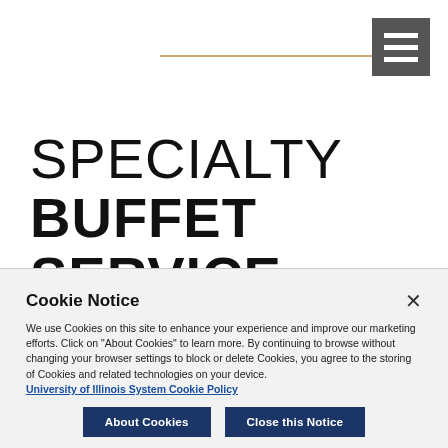SPECIALTY BUFFET SERVICE
All buffets are priced per person (25 person
Cookie Notice

We use Cookies on this site to enhance your experience and improve our marketing efforts. Click on "About Cookies" to learn more. By continuing to browse without changing your browser settings to block or delete Cookies, you agree to the storing of Cookies and related technologies on your device.

University of Illinois System Cookie Policy
About Cookies
Close this Notice